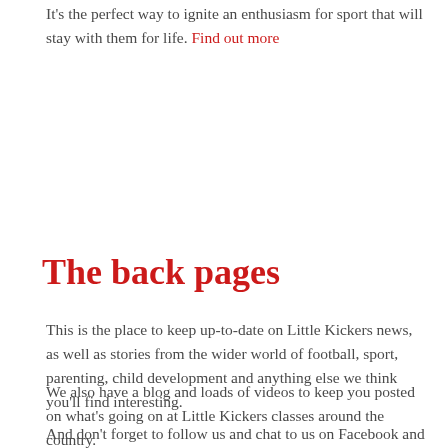It’s the perfect way to ignite an enthusiasm for sport that will stay with them for life. Find out more
The back pages
This is the place to keep up-to-date on Little Kickers news, as well as stories from the wider world of football, sport, parenting, child development and anything else we think you’ll find interesting.
We also have a blog and loads of videos to keep you posted on what’s going on at Little Kickers classes around the country.
And don’t forget to follow us and chat to us on Facebook and Twitter.